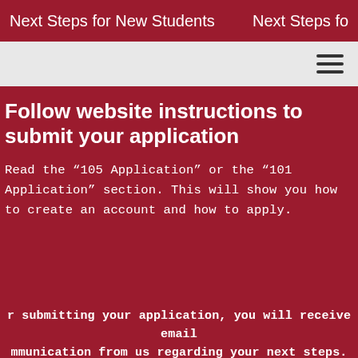Next Steps for New Students
Follow website instructions to submit your application
Read the “105 Application” or the “101 Application” section. This will show you how to create an account and how to apply.
After submitting your application, you will receive email communication from us regarding your next steps. Keep an eye on your email inbox!